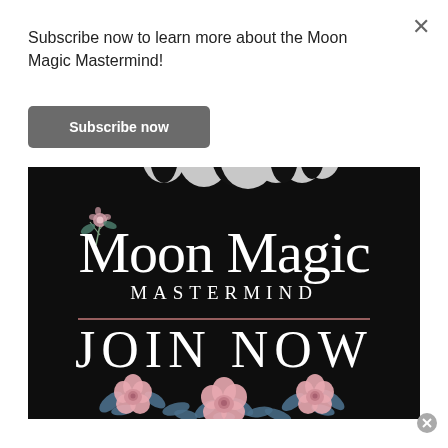Subscribe now to learn more about the Moon Magic Mastermind!
Subscribe now
[Figure (illustration): Moon Magic Mastermind promotional image on black background showing moon phase icons at top, large serif text 'Moon Magic MASTERMIND', a pink horizontal divider line, 'JOIN NOW' text in capitals, and three pink roses with blue-green leaves at the bottom. Small flower and foliage accent near the M in Moon Magic.]